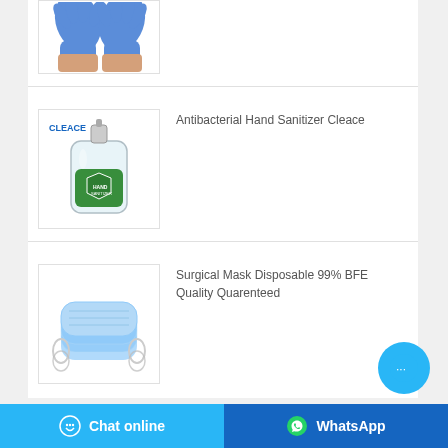[Figure (photo): Blue nitrile/latex examination gloves, hands wearing them, shown from above]
[Figure (photo): Antibacterial Hand Sanitizer Cleace bottle with pump dispenser]
Antibacterial Hand Sanitizer Cleace
[Figure (photo): Stack of blue surgical/disposable face masks with ear loops]
Surgical Mask Disposable 99% BFE Quality Quarenteed
Chat online   WhatsApp